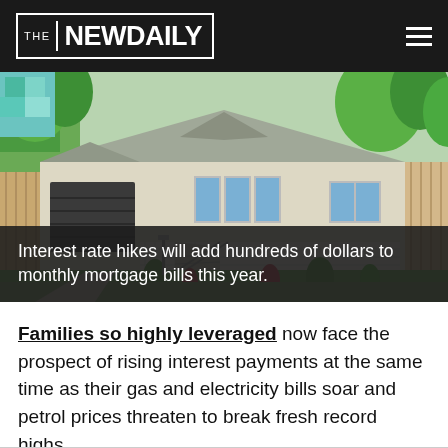THE NEW DAILY
[Figure (photo): A Queensland-style weatherboard house with light cream/beige siding, a steep roof, front stairs with metal railings, lattice skirting, a separate garage on the left, and tropical garden plants in the front yard. A large colorful mural is partially visible in the top-left background.]
Interest rate hikes will add hundreds of dollars to monthly mortgage bills this year.
Families so highly leveraged now face the prospect of rising interest payments at the same time as their gas and electricity bills soar and petrol prices threaten to break fresh record highs.